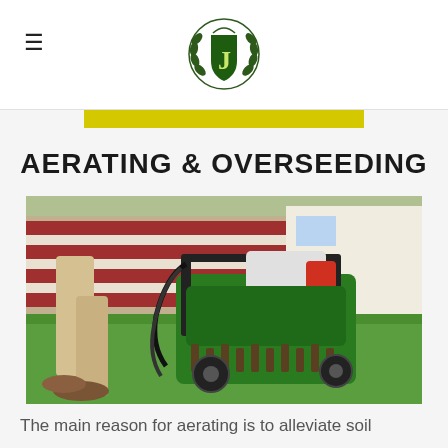≡  [J logo]
AERATING & OVERSEEDING
[Figure (photo): A person walking behind a green lawn aerating machine on green grass, with a red and white building in the background.]
The main reason for aerating is to alleviate soil